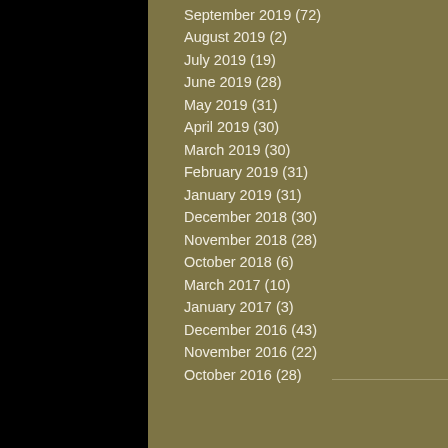September 2019 (72)
August 2019 (2)
July 2019 (19)
June 2019 (28)
May 2019 (31)
April 2019 (30)
March 2019 (30)
February 2019 (31)
January 2019 (31)
December 2018 (30)
November 2018 (28)
October 2018 (6)
March 2017 (10)
January 2017 (3)
December 2016 (43)
November 2016 (22)
October 2016 (28)
Follow Us
[Figure (logo): Social media icons: Facebook (blue), Twitter (light blue), Google+ (red)]